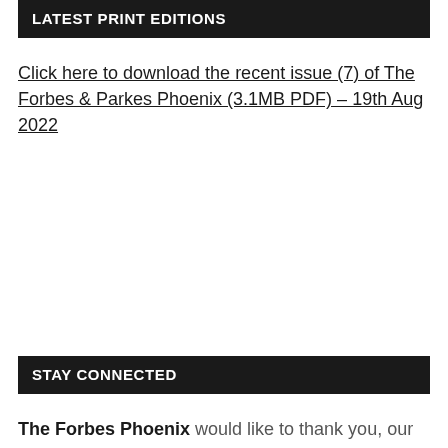LATEST PRINT EDITIONS
Click here to download the recent issue (7) of The Forbes & Parkes Phoenix (3.1MB PDF) – 19th Aug 2022
STAY CONNECTED
The Forbes Phoenix would like to thank you, our Facebook friends, for your continued support and